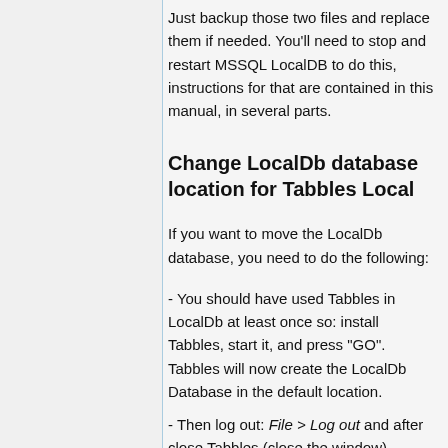Just backup those two files and replace them if needed. You'll need to stop and restart MSSQL LocalDB to do this, instructions for that are contained in this manual, in several parts.
Change LocalDb database location for Tabbles Local
If you want to move the LocalDb database, you need to do the following:
- You should have used Tabbles in LocalDb at least once so: install Tabbles, start it, and press "GO". Tabbles will now create the LocalDb Database in the default location.
- Then log out: File > Log out and after close Tabbles (close the window)